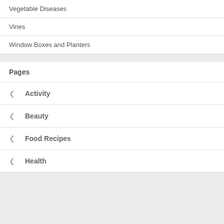Vegetable Diseases
Vines
Window Boxes and Planters
Pages
Activity
Beauty
Food Recipes
Health